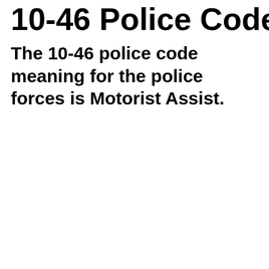10-46 Police Code
The 10-46 police code meaning for the police forces is Motorist Assist.